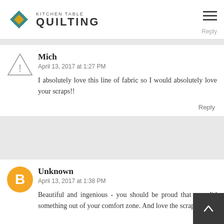Kitchen Table Quilting
So cute! Cosmo would love scraps!
Reply
Mich
April 13, 2017 at 1:27 PM
I absolutely love this line of fabric so I would absolutely love your scraps!!
Reply
Unknown
April 13, 2017 at 1:38 PM
Beautiful and ingenious - you should be proud that you did something out of your comfort zone. And love the scraps.